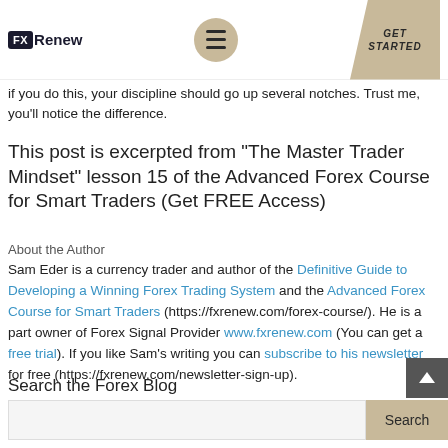FX Renew — GET STARTED
if you do this, your discipline should go up several notches. Trust me, you'll notice the difference.
This post is excerpted from “The Master Trader Mindset” lesson 15 of the Advanced Forex Course for Smart Traders (Get FREE Access)
About the Author
Sam Eder is a currency trader and author of the Definitive Guide to Developing a Winning Forex Trading System and the Advanced Forex Course for Smart Traders (https://fxrenew.com/forex-course/). He is a part owner of Forex Signal Provider www.fxrenew.com (You can get a free trial). If you like Sam’s writing you can subscribe to his newsletter for free (https://fxrenew.com/newsletter-sign-up).
Search the Forex Blog